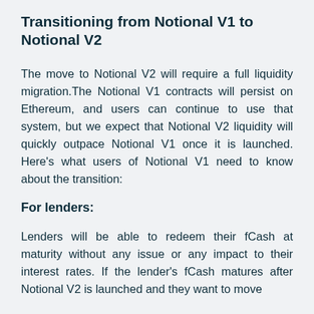Transitioning from Notional V1 to Notional V2
The move to Notional V2 will require a full liquidity migration.The Notional V1 contracts will persist on Ethereum, and users can continue to use that system, but we expect that Notional V2 liquidity will quickly outpace Notional V1 once it is launched. Here's what users of Notional V1 need to know about the transition:
For lenders:
Lenders will be able to redeem their fCash at maturity without any issue or any impact to their interest rates. If the lender's fCash matures after Notional V2 is launched and they want to move